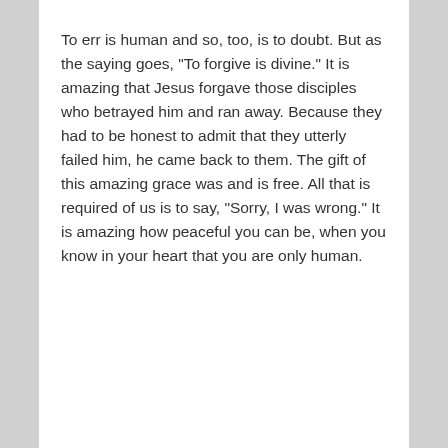To err is human and so, too, is to doubt. But as the saying goes, "To forgive is divine." It is amazing that Jesus forgave those disciples who betrayed him and ran away. Because they had to be honest to admit that they utterly failed him, he came back to them. The gift of this amazing grace was and is free. All that is required of us is to say, "Sorry, I was wrong." It is amazing how peaceful you can be, when you know in your heart that you are only human.